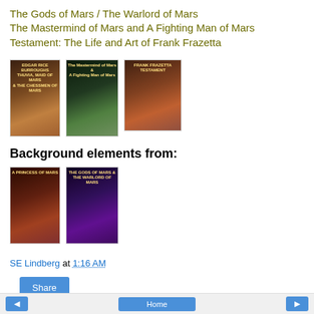The Gods of Mars / The Warlord of Mars
The Mastermind of Mars and A Fighting Man of Mars
Testament: The Life and Art of Frank Frazetta
[Figure (photo): Three book cover images: Edgar Rice Burroughs Mars series covers and Frank Frazetta art book cover]
Background elements from:
[Figure (photo): Two book cover images used as background elements]
SE Lindberg at 1:16 AM
Share